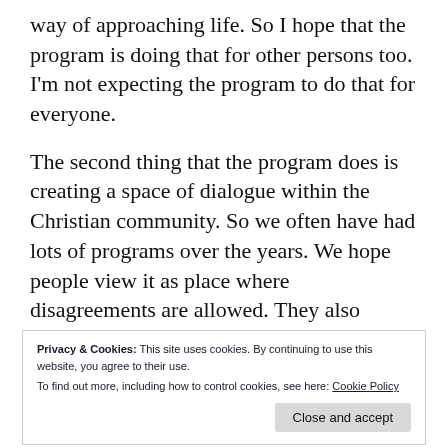way of approaching life. So I hope that the program is doing that for other persons too. I'm not expecting the program to do that for everyone.
The second thing that the program does is creating a space of dialogue within the Christian community. So we often have had lots of programs over the years. We hope people view it as place where disagreements are allowed. They also should realise that once you
Privacy & Cookies: This site uses cookies. By continuing to use this website, you agree to their use.
To find out more, including how to control cookies, see here: Cookie Policy
ourselves brothers and sisters in Christ. We